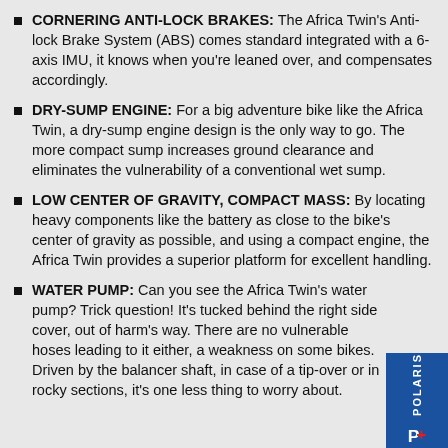CORNERING ANTI-LOCK BRAKES: The Africa Twin's Anti-lock Brake System (ABS) comes standard integrated with a 6-axis IMU, it knows when you're leaned over, and compensates accordingly.
DRY-SUMP ENGINE: For a big adventure bike like the Africa Twin, a dry-sump engine design is the only way to go. The more compact sump increases ground clearance and eliminates the vulnerability of a conventional wet sump.
LOW CENTER OF GRAVITY, COMPACT MASS: By locating heavy components like the battery as close to the bike's center of gravity as possible, and using a compact engine, the Africa Twin provides a superior platform for excellent handling.
WATER PUMP: Can you see the Africa Twin's water pump? Trick question! It's tucked behind the right side cover, out of harm's way. There are no vulnerable hoses leading to it either, a weakness on some bikes. Driven by the balancer shaft, in case of a tip-over or in rocky sections, it's one less thing to worry about.